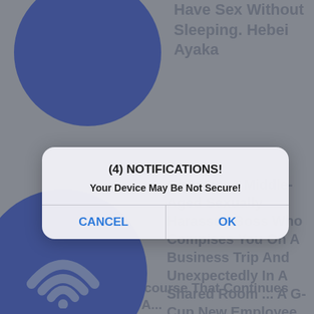[Figure (screenshot): Mobile browser screenshot showing adult content website in background with blue circular wifi-like icons, overlaid by an iOS-style notification dialog box reading '(4) NOTIFICATIONS! Your Device May Be Not Secure!' with CANCEL and OK buttons.]